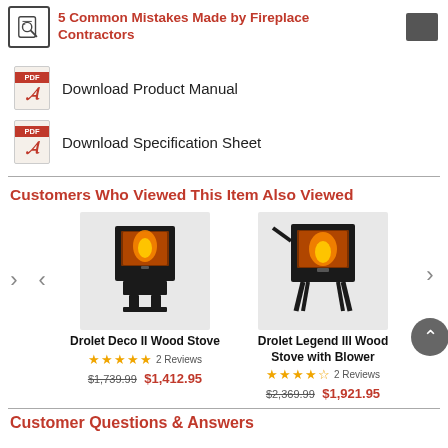5 Common Mistakes Made by Fireplace Contractors
Download Product Manual
Download Specification Sheet
Customers Who Viewed This Item Also Viewed
[Figure (photo): Drolet Deco II Wood Stove product image - black wood stove with glass door on pedestal]
Drolet Deco II Wood Stove
2 Reviews
$1,739.99 $1,412.95
[Figure (photo): Drolet Legend III Wood Stove with Blower product image - black wood stove on legs with glass door]
Drolet Legend III Wood Stove with Blower
2 Reviews
$2,369.99 $1,921.95
Customer Questions & Answers